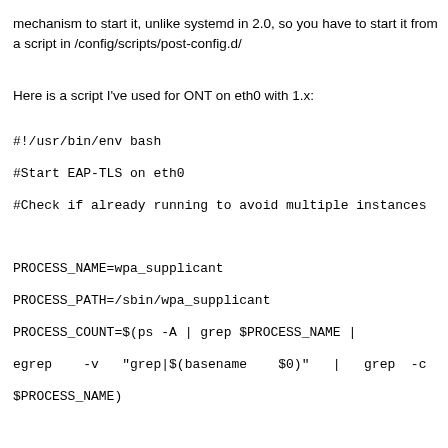mechanism to start it, unlike systemd in 2.0, so you have to start it from a script in /config/scripts/post-config.d/
Here is a script I've used for ONT on eth0 with 1.x:
#!/usr/bin/env bash
#Start EAP-TLS on eth0
#Check if already running to avoid multiple instances

PROCESS_NAME=wpa_supplicant
PROCESS_PATH=/sbin/wpa_supplicant
PROCESS_COUNT=$(ps -A | grep $PROCESS_NAME | egrep -v "grep|$(basename $0)" | grep -c $PROCESS_NAME)

if [ $PROCESS_COUNT = 0 ]; then
echo "`date +"%b %d %T"` `hostname` eap-tls: Starting" >> /var/log/messages 2>&1
if [ -x /sbin/wpa_supplicant ]; then
echo "`date +"%b %d %T"` `hostname` `/sbin/wpa_supplicant -s -B -Dwired -ieth0 -c/config/wpa_supplicant.conf -P/var/run/wpa_supplicant.pid &`" >> /var/log/messages 2>&1